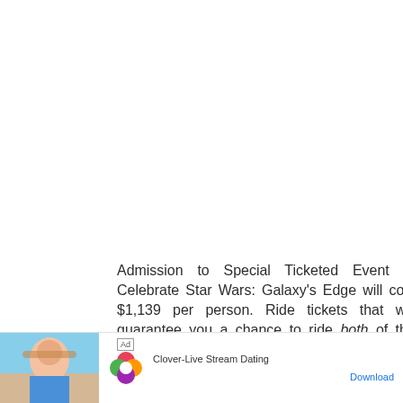Admission to Special Ticketed Event to Celebrate Star Wars: Galaxy's Edge will cost $1,139 per person. Ride tickets that will guarantee you a chance to ride both of the new attractions will be an additional $1,139 per person. Bite-sized samples of the new land's foods and beverages will be sold at a cost of $11.39 per item. The number 1139 holds an important place in Star Wars legend
[Figure (screenshot): Ad banner at the bottom of the page: Clover-Live Stream Dating app advertisement with a photo of a woman on a beach, the Clover app icon (four-leaf clover with colored hearts), app name 'Clover-Live Stream Dating', and a 'Download' button link.]